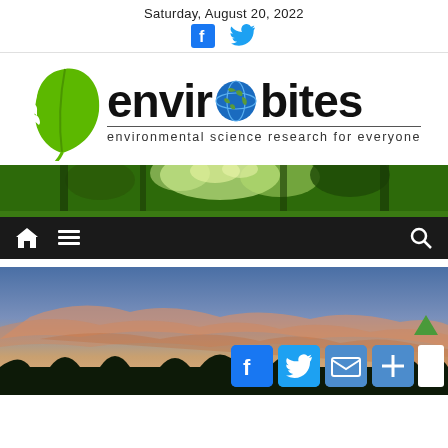Saturday, August 20, 2022
[Figure (logo): Envirobites logo with green leaf and globe replacing the 'o', tagline: environmental science research for everyone]
[Figure (photo): Forest canopy banner photo showing green trees from below looking up]
[Figure (screenshot): Dark navigation bar with home icon, hamburger menu icon, and search icon]
[Figure (photo): Sunset sky photo with pink and orange clouds over silhouetted trees, with social share buttons (Facebook, Twitter, Email, More) overlaid at bottom right]